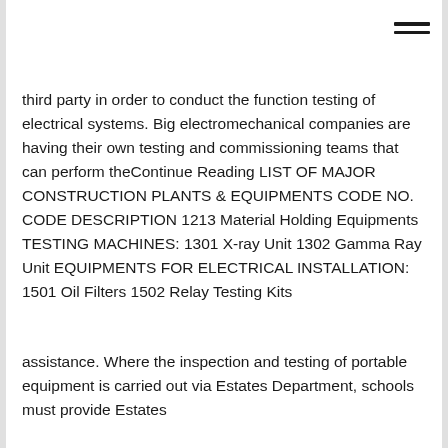third party in order to conduct the function testing of electrical systems. Big electromechanical companies are having their own testing and commissioning teams that can perform theContinue Reading LIST OF MAJOR CONSTRUCTION PLANTS & EQUIPMENTS CODE NO. CODE DESCRIPTION 1213 Material Holding Equipments TESTING MACHINES: 1301 X-ray Unit 1302 Gamma Ray Unit EQUIPMENTS FOR ELECTRICAL INSTALLATION: 1501 Oil Filters 1502 Relay Testing Kits
assistance. Where the inspection and testing of portable equipment is carried out via Estates Department, schools must provide Estates